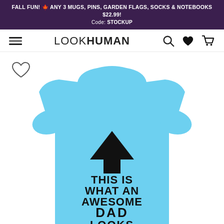FALL FUN! 🍁 ANY 3 MUGS, PINS, GARDEN FLAGS, SOCKS & NOTEBOOKS $22.99! Code: STOCKUP
[Figure (screenshot): LookHuman website navigation bar with hamburger menu, LOOKHUMAN logo, search, heart/wishlist, and cart icons]
[Figure (photo): Light blue baby onesie with black arrow graphic pointing up and text reading THIS IS WHAT AN AWESOME DAD LOOKS LIKE]